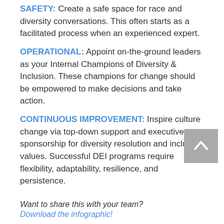SAFETY: Create a safe space for race and diversity conversations. This often starts as a facilitated process when an experienced expert.
OPERATIONAL: Appoint on-the-ground leaders as your Internal Champions of Diversity & Inclusion. These champions for change should be empowered to make decisions and take action.
CONTINUOUS IMPROVEMENT: Inspire culture change via top-down support and executive sponsorship for diversity resolution and inclusion values. Successful DEI programs require flexibility, adaptability, resilience, and persistence.
Want to share this with your team? Download the infographic!